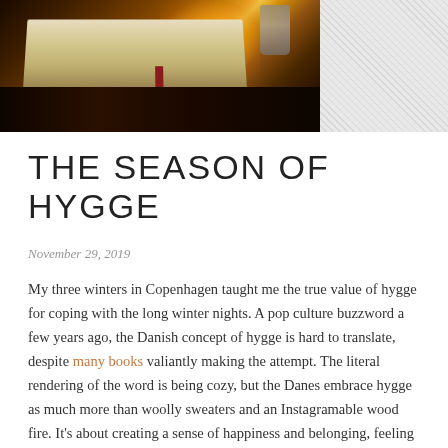[Figure (photo): Photograph of an open book on a dark surface with warm firelight glow in the background and a cup or mug visible to the right]
THE SEASON OF HYGGE
November 29, 2019
My three winters in Copenhagen taught me the true value of hygge for coping with the long winter nights. A pop culture buzzword a few years ago, the Danish concept of hygge is hard to translate, despite many books valiantly making the attempt. The literal rendering of the word is being cozy, but the Danes embrace hygge as much more than woolly sweaters and an Instagramable wood fire. It's about creating a sense of happiness and belonging, feeling